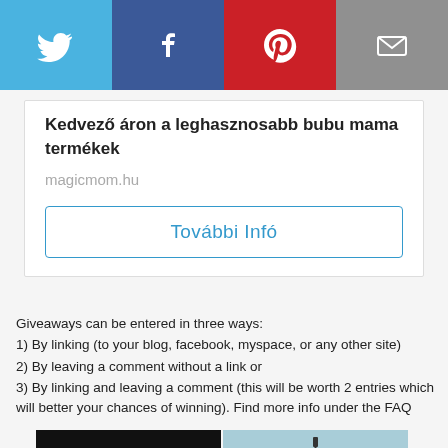[Figure (infographic): Social share bar with Twitter (blue), Facebook (dark blue), Pinterest (red), and Email (gray) buttons]
Kedvező áron a leghasznosabb bubu mama termékek
magicmom.hu
További Infó
Giveaways can be entered in three ways:
1) By linking (to your blog, facebook, myspace, or any other site)
2) By leaving a comment without a link or
3) By linking and leaving a comment (this will be worth 2 entries which will better your chances of winning). Find more info under the FAQ
[Figure (photo): 2x2 grid of photos: dark/black photo top-left, mannequin on blue background top-right, woman with flowers bottom-left (faded), pink garment bottom-right (faded)]